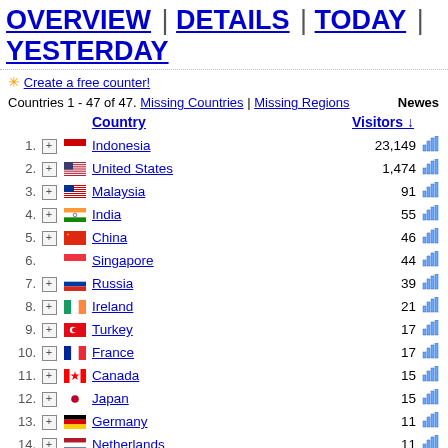OVERVIEW | DETAILS | TODAY | YESTERDAY
✳ Create a free counter!
Countries 1 - 47 of 47. Missing Countries | Missing Regions   Newest
|  |  | Country | Visitors ↓ |  |
| --- | --- | --- | --- | --- |
| 1. | + | Indonesia | 23,149 | chart |
| 2. | + | United States | 1,474 | chart |
| 3. | + | Malaysia | 91 | chart |
| 4. | + | India | 55 | chart |
| 5. | + | China | 46 | chart |
| 6. |  | Singapore | 44 | chart |
| 7. | + | Russia | 39 | chart |
| 8. | + | Ireland | 21 | chart |
| 9. | + | Turkey | 17 | chart |
| 10. | + | France | 17 | chart |
| 11. | + | Canada | 15 | chart |
| 12. | + | Japan | 15 | chart |
| 13. | + | Germany | 11 | chart |
| 14. | + | Netherlands | 11 | chart |
| 15. | + | United Kingdom | 10 | chart |
| 16. | + | Hong Kong | 10 | chart |